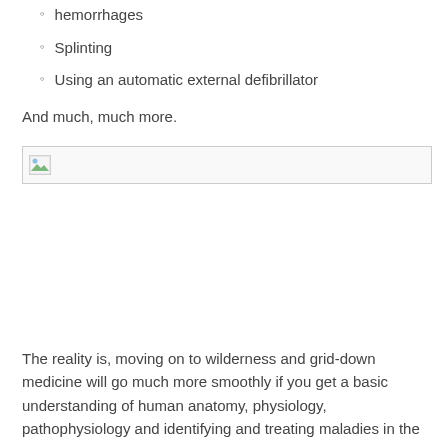hemorrhages
Splinting
Using an automatic external defibrillator
And much, much more.
[Figure (photo): Broken/placeholder image icon with a landscape thumbnail icon in the top-left corner of a bordered image placeholder box]
The reality is, moving on to wilderness and grid-down medicine will go much more smoothly if you get a basic understanding of human anatomy, physiology, pathophysiology and identifying and treating maladies in the